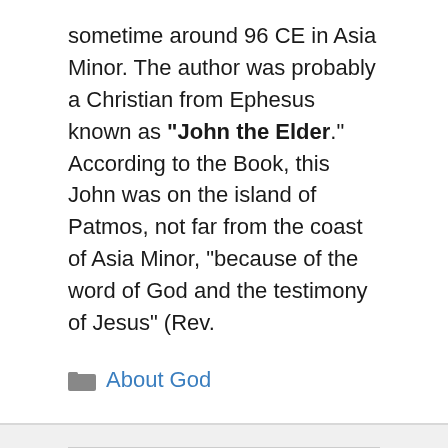sometime around 96 CE in Asia Minor. The author was probably a Christian from Ephesus known as "John the Elder." According to the Book, this John was on the island of Patmos, not far from the coast of Asia Minor, "because of the word of God and the testimony of Jesus" (Rev.
About God
[Figure (other): Search bar with text input placeholder 'Search ...' and a dark search button with magnifying glass icon]